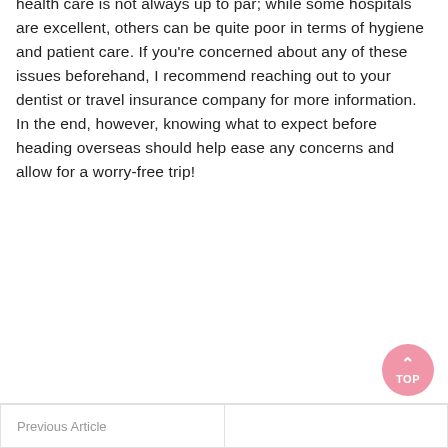health care is not always up to par; while some hospitals are excellent, others can be quite poor in terms of hygiene and patient care. If you're concerned about any of these issues beforehand, I recommend reaching out to your dentist or travel insurance company for more information. In the end, however, knowing what to expect before heading overseas should help ease any concerns and allow for a worry-free trip!
Previous Article